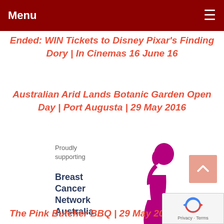Menu
Ended: WIN Tickets to Disney Pixar's Finding Dory | In Cinemas 16 June 16
Australian Arid Lands Botanic Garden Open Day | Port Augusta | 29 May 2016
[Figure (logo): Breast Cancer Network Australia logo — pink female silhouette with text 'Proudly supporting' and 'Breast Cancer Network Australia' in dark blue]
The Pink Butcher BBQ | 29 May 201...